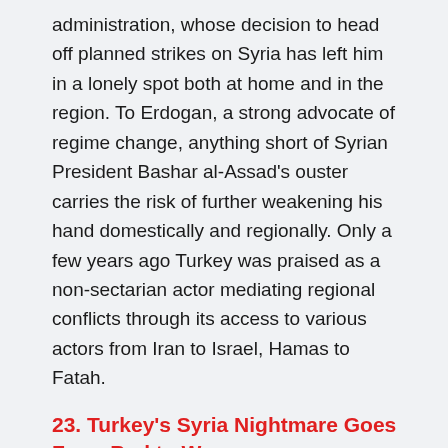administration, whose decision to head off planned strikes on Syria has left him in a lonely spot both at home and in the region. To Erdogan, a strong advocate of regime change, anything short of Syrian President Bashar al-Assad's ouster carries the risk of further weakening his hand domestically and regionally. Only a few years ago Turkey was praised as a non-sectarian actor mediating regional conflicts through its access to various actors from Iran to Israel, Hamas to Fatah.
23. Turkey's Syria Nightmare Goes From Bad to Worse
20 September 2013 / Al Monitor
Turkey's Syria nightmare keeps going from bad to